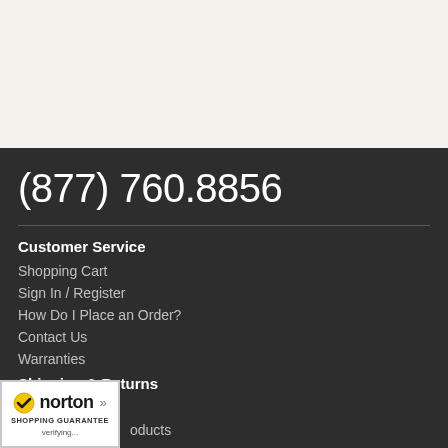(877) 760.8856
Customer Service
Shopping Cart
Sign In / Register
How Do I Place an Order?
Contact Us
Warranties
Shipping & Returns
[Figure (logo): Norton Shopping Guarantee badge with checkmark, 'norton' text, and 'SHOPPING GUARANTEE' label. Shows 'verifying...' text below.]
oducts